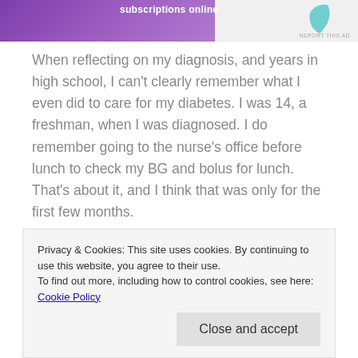[Figure (other): Advertisement banner with purple background, text 'subscriptions online', teal leaf graphic, and 'REPORT THIS AD' link]
When reflecting on my diagnosis, and years in high school, I can't clearly remember what I even did to care for my diabetes. I was 14, a freshman, when I was diagnosed. I do remember going to the nurse's office before lunch to check my BG and bolus for lunch. That's about it, and I think that was only for the first few months.
The biggest thing for me was fitting in with my new disease. Fortunately, I had a really great friend
Privacy & Cookies: This site uses cookies. By continuing to use this website, you agree to their use.
To find out more, including how to control cookies, see here: Cookie Policy
that's it.